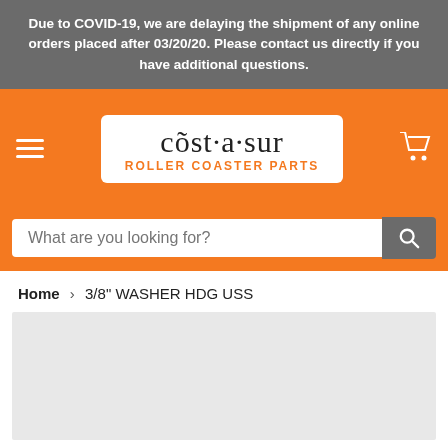Due to COVID-19, we are delaying the shipment of any online orders placed after 03/20/20. Please contact us directly if you have additional questions.
[Figure (logo): Cost-a-sur Roller Coaster Parts logo in white box on orange navigation bar with hamburger menu and cart icon]
What are you looking for?
Home › 3/8" WASHER HDG USS
[Figure (photo): Product image placeholder area, light grey background]